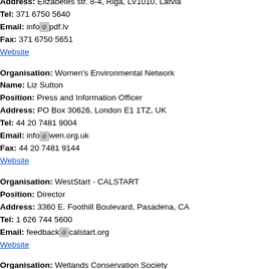Position: Director
Address: Elizabetes str. 8-4, Riga, LV1010, Latvia
Tel: 371 6750 5640
Email: info@pdf.lv
Fax: 371 6750 5651
Website
Organisation: Women's Environmental Network
Name: Liz Sutton
Position: Press and Information Officer
Address: PO Box 30626, London E1 1TZ, UK
Tel: 44 20 7481 9004
Email: info@wen.org.uk
Fax: 44 20 7481 9144
Website
Organisation: WestStart - CALSTART
Position: Director
Address: 3360 E. Foothill Boulevard, Pasadena, CA
Tel: 1 626 744 5600
Email: feedback@calstart.org
Website
Organisation: Wetlands Conservation Society
Position: Co-ordinator
Address: 14 Stone Court, Kardinya, WA 6163, Aus...